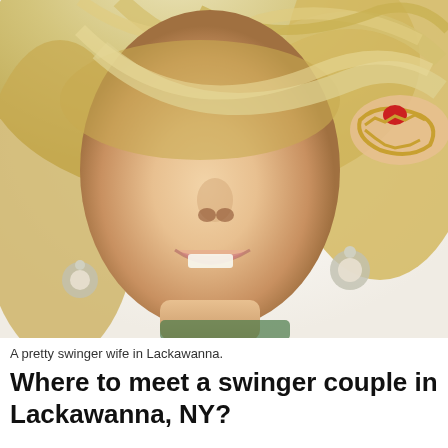[Figure (photo): A blonde woman with hair blowing across her face, head tilted back, wearing floral earrings and a gold chain bracelet with a red bead.]
A pretty swinger wife in Lackawanna.
Where to meet a swinger couple in Lackawanna, NY?